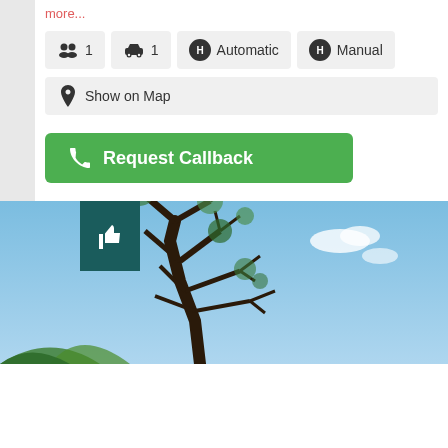more...
people: 1, car: 1, Automatic, Manual
Show on Map
Request Callback
[Figure (photo): A photo of a large eucalyptus tree with bare dark branches against a bright blue sky with some foliage visible. A thumbs-up icon in a dark teal box overlaid on the left side.]